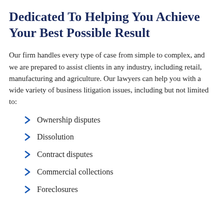Dedicated To Helping You Achieve Your Best Possible Result
Our firm handles every type of case from simple to complex, and we are prepared to assist clients in any industry, including retail, manufacturing and agriculture. Our lawyers can help you with a wide variety of business litigation issues, including but not limited to:
Ownership disputes
Dissolution
Contract disputes
Commercial collections
Foreclosures